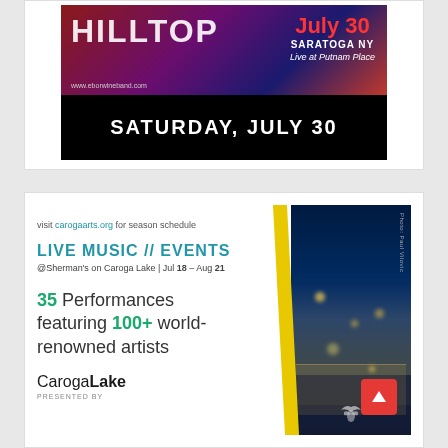[Figure (illustration): Hilltop band advertisement: dark red/purple/blue gradient background with 'HILLTOP' text, 'July 30 SARATOGA NY Live at Putnam Place', www.eborwineband.com, and 'SATURDAY, JULY 30' on black bar below]
[Figure (illustration): Caroga Lake arts advertisement: White background with cyan/teal 'LIVE MUSIC // EVENTS' header, '@Sherman's on Caroga Lake | Jul 18 – Aug 21', '35 Performances featuring 100+ world-renowned artists', CarogaLake logo, yellow diagonal stripe, night photo of venue with lights, red scroll-up button, photo credit 'Photo: Paul Vilovic']